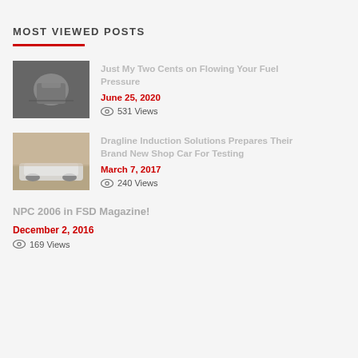MOST VIEWED POSTS
Just My Two Cents on Flowing Your Fuel Pressure | June 25, 2020 | 531 Views
Dragline Induction Solutions Prepares Their Brand New Shop Car For Testing | March 7, 2017 | 240 Views
NPC 2006 in FSD Magazine! | December 2, 2016 | 169 Views